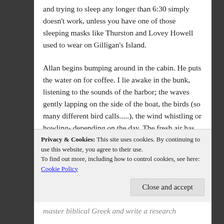and trying to sleep any longer than 6:30 simply doesn't work, unless you have one of those sleeping masks like Thurston and Lovey Howell used to wear on Gilligan's Island.
Allan begins bumping around in the cabin. He puts the water on for coffee. I lie awake in the bunk, listening to the sounds of the harbor; the waves gently lapping on the side of the boat, the birds (so many different bird calls.....), the wind whistling or howling- depending on the day. The fresh air has lulled me into a state of liquid relaxation. My high strung, high energy personality cannot function in this environment- so I have left it at home. I
Privacy & Cookies: This site uses cookies. By continuing to use this website, you agree to their use.
To find out more, including how to control cookies, see here: Cookie Policy
master biblical Greek and write a research